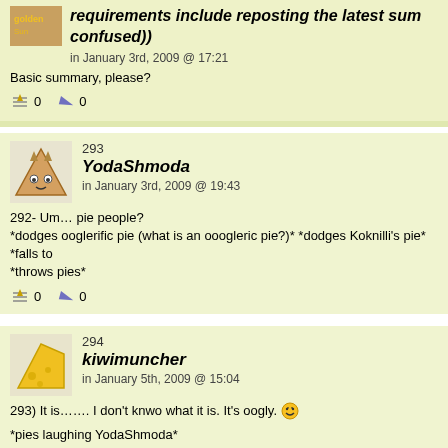requirements include reposting the latest sum confused))
in January 3rd, 2009 @ 17:21
Basic summary, please?
0  0
293 YodaShmoda in January 3rd, 2009 @ 19:43
292- Um… pie people?
*dodges ooglerific pie (what is an ooogleric pie?)* *dodges Koknilli's pie* *falls to
*throws pies*
0  0
294 kiwimuncher in January 5th, 2009 @ 15:04
293) It is……. I don't knwo what it is. It's oogly.
*pies laughing YodaShmoda*
greetings I-Man! Yoda Shmoda is right, just start pieing people. Of coruse, you c